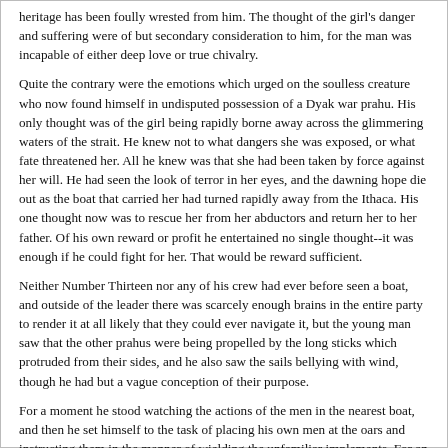heritage has been foully wrested from him. The thought of the girl's danger and suffering were of but secondary consideration to him, for the man was incapable of either deep love or true chivalry.
Quite the contrary were the emotions which urged on the soulless creature who now found himself in undisputed possession of a Dyak war prahu. His only thought was of the girl being rapidly borne away across the glimmering waters of the strait. He knew not to what dangers she was exposed, or what fate threatened her. All he knew was that she had been taken by force against her will. He had seen the look of terror in her eyes, and the dawning hope die out as the boat that carried her had turned rapidly away from the Ithaca. His one thought now was to rescue her from her abductors and return her to her father. Of his own reward or profit he entertained no single thought--it was enough if he could fight for her. That would be reward sufficient.
Neither Number Thirteen nor any of his crew had ever before seen a boat, and outside of the leader there was scarcely enough brains in the entire party to render it at all likely that they could ever navigate it, but the young man saw that the other prahus were being propelled by the long sticks which protruded from their sides, and he also saw the sails bellying with wind, though he had but a vague conception of their purpose.
For a moment he stood watching the actions of the men in the nearest boat, and then he set himself to the task of placing his own men at the oars and instructing them in the manner of wielding the unfamiliar implements. For an hour he worked with the brainless things that constituted his party. They could not seem to learn what was required of them. The paddles were continually fouling one another, or being merely dipped into the water and withdrawn without the faintest semblance of a stroke made.
The tiresome maneuvering had carried them about in circles back and forth across the harbor, but by it Number Thirteen had himself learned something of the proper method of propelling and steering his craft. At last, more through accident than intent, they came opposite the mouth of the basin, and then chance did for them what days of arduous endeavor upon their part might have failed to accomplish.
As they hung wavering in the opening, the broad strait before them, and their